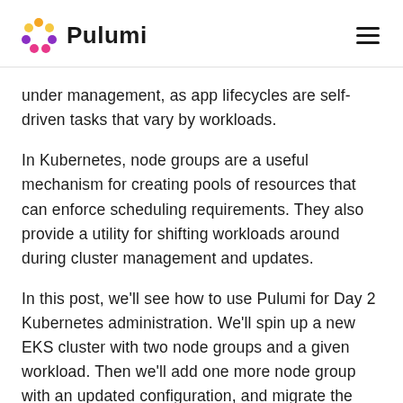Pulumi
under management, as app lifecycles are self-driven tasks that vary by workloads.
In Kubernetes, node groups are a useful mechanism for creating pools of resources that can enforce scheduling requirements. They also provide a utility for shifting workloads around during cluster management and updates.
In this post, we'll see how to use Pulumi for Day 2 Kubernetes administration. We'll spin up a new EKS cluster with two node groups and a given workload. Then we'll add one more node group with an updated configuration, and migrate the workload over to it with zero downtime using code and kubectl.